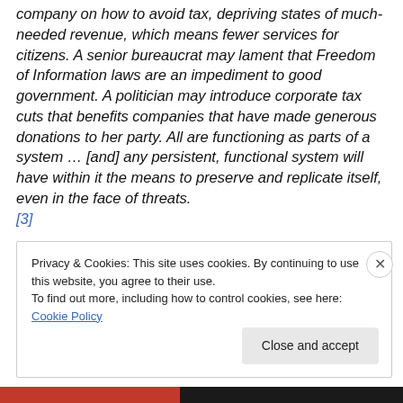company on how to avoid tax, depriving states of much-needed revenue, which means fewer services for citizens. A senior bureaucrat may lament that Freedom of Information laws are an impediment to good government. A politician may introduce corporate tax cuts that benefits companies that have made generous donations to her party. All are functioning as parts of a system … [and] any persistent, functional system will have within it the means to preserve and replicate itself, even in the face of threats. [3]
Privacy & Cookies: This site uses cookies. By continuing to use this website, you agree to their use. To find out more, including how to control cookies, see here: Cookie Policy